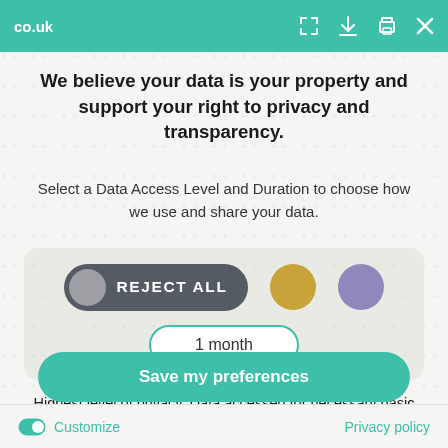co.uk
We believe your data is your property and support your right to privacy and transparency.
Select a Data Access Level and Duration to choose how we use and share your data.
[Figure (infographic): Cookie consent UI showing REJECT ALL pill button, a gold circle, a purple circle, and a '1 month' duration pill selector]
Highest level of privacy. Data accessed for necessary basic operations only. Data shared with 3rd parties to ensure the site is secure and works on your device
Save my preferences
Customize   Privacy policy